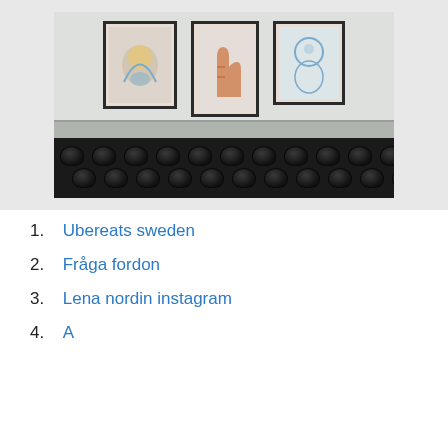[Figure (photo): Interior photo showing three framed artworks on a light grey wall above a dark leather tufted bench/banquette with grey wainscoting panel rail]
1. Ubereats sweden
2. Fråga fordon
3. Lena nordin instagram
4. (partially visible)